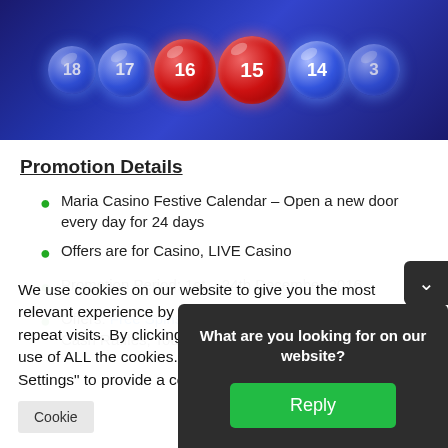[Figure (photo): Banner image showing glowing blue and red bingo/lottery balls with numbers 13, 14, 15, 16, 17, 18 on a dark blue background]
Promotion Details
Maria Casino Festive Calendar – Open a new door every day for 24 days
Offers are for Casino, LIVE Casino
Promotion Period: 1st – 24th December 2016
Offers: Free Spins, Deposit Bonuses, Prize Draws, Cash Raffles, Tournaments, Wager Races
We use cookies on our website to give you the most relevant experience by remembering your preferences and repeat visits. By clicking "Accept All", you consent to the use of ALL the cookies. However, you may visit "Cookie Settings" to provide a controlled consent.
What are you looking for on our website?